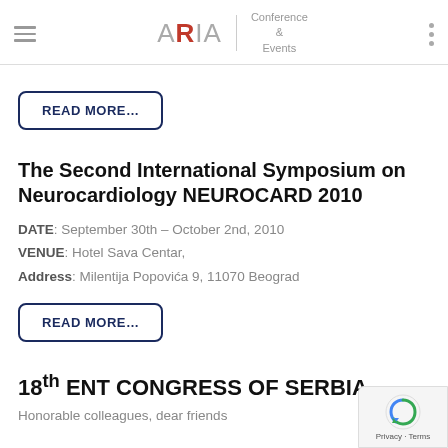ARIA Conference & Events
READ MORE…
The Second International Symposium on Neurocardiology NEUROCARD 2010
DATE: September 30th – October 2nd, 2010
VENUE: Hotel Sava Centar,
Address: Milentija Popovića 9, 11070 Beograd
READ MORE…
18th ENT CONGRESS OF SERBIA
Honorable colleagues, dear friends